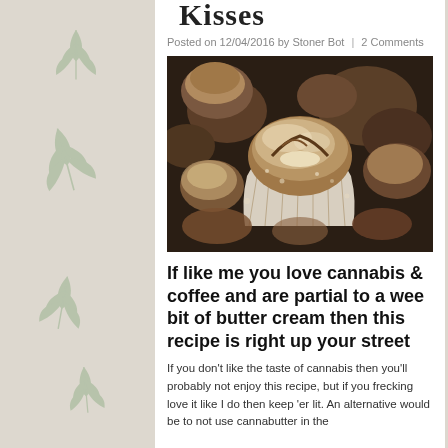Kisses
Posted on 12/04/2016 by Stoner Bot | 2 Comments
[Figure (photo): Close-up photo of powdered sugar dusted pastry bites/cookies in white cupcake liners, dark moody background]
If like me you love cannabis & coffee and are partial to a wee bit of butter cream then this recipe is right up your street
If you don't like the taste of cannabis then you'll probably not enjoy this recipe, but if you frecking love it like I do then keep 'er lit. An alternative would be to not use cannabutter in the